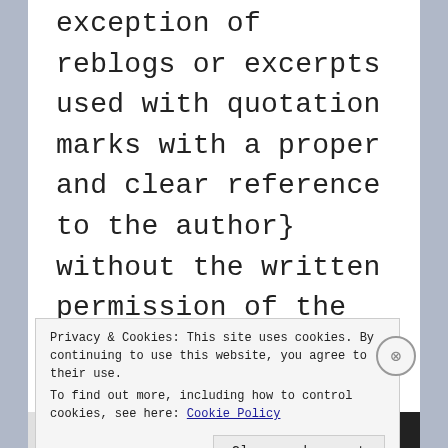exception of reblogs or excerpts used with quotation marks with a proper and clear reference to the author} without the written permission of the owner of this blog, ©diana
Privacy & Cookies: This site uses cookies. By continuing to use this website, you agree to their use.
To find out more, including how to control cookies, see here: Cookie Policy
[Close and accept]